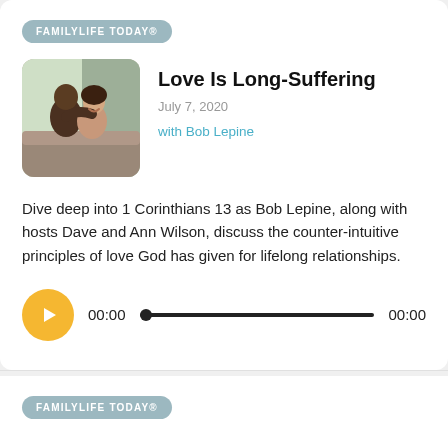FAMILYLIFE TODAY®
Love Is Long-Suffering
July 7, 2020
with Bob Lepine
[Figure (photo): A couple embracing and smiling, seated near a window]
Dive deep into 1 Corinthians 13 as Bob Lepine, along with hosts Dave and Ann Wilson, discuss the counter-intuitive principles of love God has given for lifelong relationships.
[Figure (other): Audio player with play button showing 00:00 / 00:00 and a progress bar]
FAMILYLIFE TODAY®